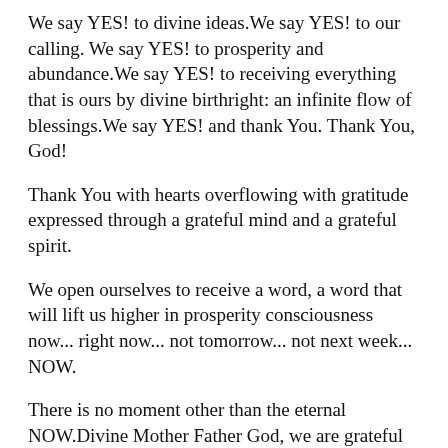We say YES! to divine ideas.We say YES! to our calling. We say YES! to prosperity and abundance.We say YES! to receiving everything that is ours by divine birthright: an infinite flow of blessings.We say YES! and thank You. Thank You, God!
Thank You with hearts overflowing with gratitude expressed through a grateful mind and a grateful spirit.
We open ourselves to receive a word, a word that will lift us higher in prosperity consciousness now... right now... not tomorrow... not next week... NOW.
There is no moment other than the eternal NOW.Divine Mother Father God, we are grateful for the energy of Life pouring forth through us NOW.
We are grateful. We thank You, God. We thank You. We thank You. We thank You. We thank You with an open heart, an open mind and an ever expanding consciousness of oneness with all